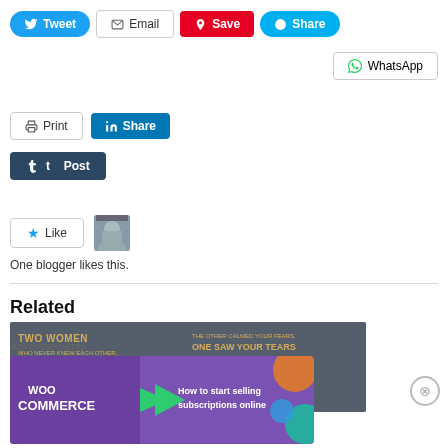[Figure (screenshot): Social sharing buttons row: Tweet (blue), Email (white/gray border), Save (red Pinterest), Share (blue Skype)]
[Figure (screenshot): WhatsApp share button on the right]
[Figure (screenshot): Print button and LinkedIn Share button]
[Figure (screenshot): Tumblr Post button (dark navy)]
[Figure (screenshot): Like button with star icon and a blogger avatar thumbnail]
One blogger likes this.
Related
[Figure (illustration): Two Women adoption quote image with yellow text on dark gray background]
Advertisements
[Figure (infographic): WooCommerce advertisement: How to start selling subscriptions online]